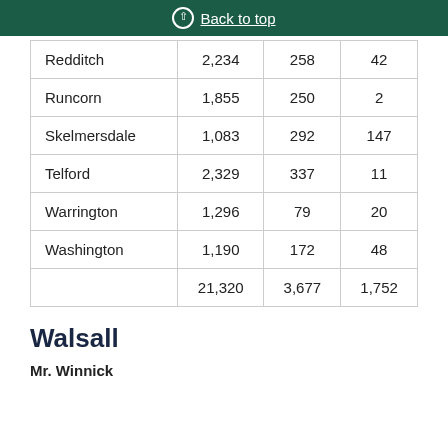Back to top
| Redditch | 2,234 | 258 | 42 |
| Runcorn | 1,855 | 250 | 2 |
| Skelmersdale | 1,083 | 292 | 147 |
| Telford | 2,329 | 337 | 11 |
| Warrington | 1,296 | 79 | 20 |
| Washington | 1,190 | 172 | 48 |
|  | 21,320 | 3,677 | 1,752 |
Walsall
Mr. Winnick